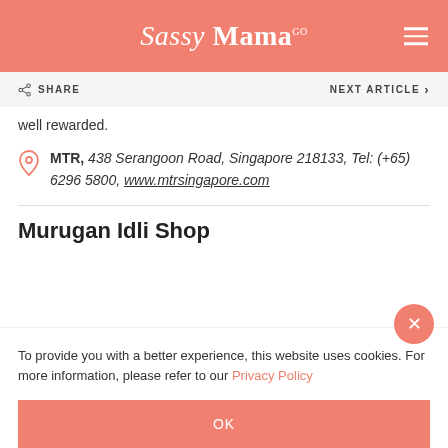Sassy Mama
SHARE | NEXT ARTICLE
well rewarded.
MTR, 438 Serangoon Road, Singapore 218133, Tel: (+65) 6296 5800, www.mtrsingapore.com
Murugan Idli Shop
To provide you with a better experience, this website uses cookies. For more information, please refer to our Privacy Policy
OK